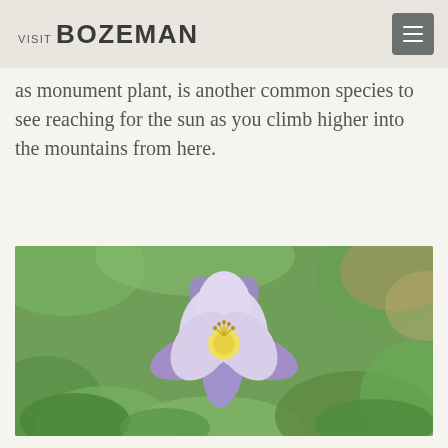VISIT BOZEMAN
as monument plant, is another common species to see reaching for the sun as you climb higher into the mountains from here.
[Figure (photo): Close-up photograph of a purple/lavender columbine flower with white inner petals and yellow stamens, set against a blurred green leafy background.]